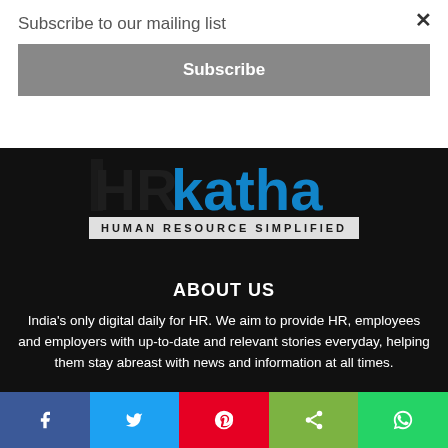Subscribe to our mailing list
Subscribe
[Figure (logo): HRkatha logo - Human Resource Simplified]
ABOUT US
India's only digital daily for HR. We aim to provide HR, employees and employers with up-to-date and relevant stories everyday, helping them stay abreast with news and information at all times.
[Figure (infographic): Social share bar with Facebook, Twitter, Pinterest, Share, and WhatsApp buttons]